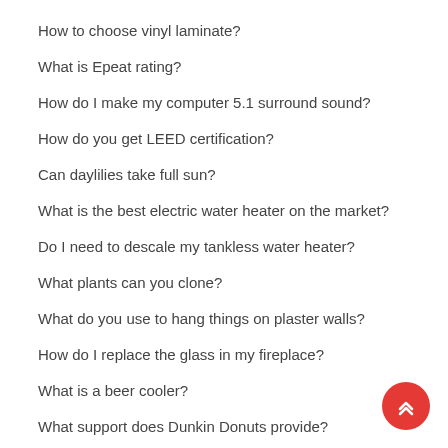How to choose vinyl laminate?
What is Epeat rating?
How do I make my computer 5.1 surround sound?
How do you get LEED certification?
Can daylilies take full sun?
What is the best electric water heater on the market?
Do I need to descale my tankless water heater?
What plants can you clone?
What do you use to hang things on plaster walls?
How do I replace the glass in my fireplace?
What is a beer cooler?
What support does Dunkin Donuts provide?
Is XBee a Zigbee?